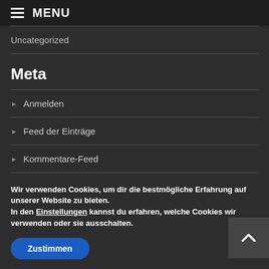≡ MENU
Uncategorized
Meta
▶ Anmelden
▶ Feed der Einträge
▶ Kommentare-Feed
Wir verwenden Cookies, um dir die bestmögliche Erfahrung auf unserer Website zu bieten.
In den Einstellungen kannst du erfahren, welche Cookies wir verwenden oder sie ausschalten.
Zustimmen